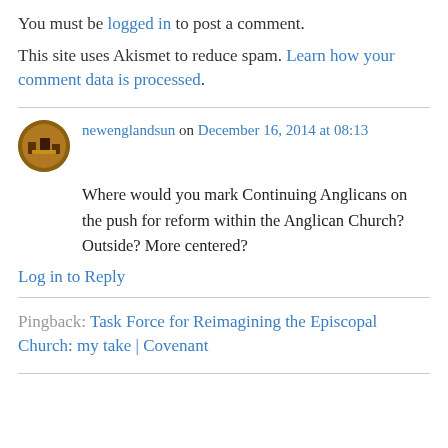You must be logged in to post a comment.
This site uses Akismet to reduce spam. Learn how your comment data is processed.
newenglandsun on December 16, 2014 at 08:13
Where would you mark Continuing Anglicans on the push for reform within the Anglican Church? Outside? More centered?
Log in to Reply
Pingback: Task Force for Reimagining the Episcopal Church: my take | Covenant